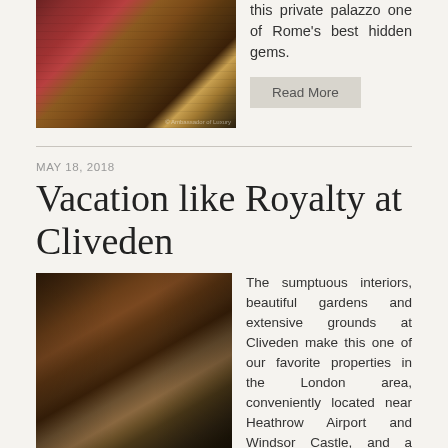[Figure (photo): Interior of an ornate palace or grand room with red walls, paintings, gilded furniture and chandeliers]
this private palazzo one of Rome's best hidden gems.
Read More
MAY 18, 2018
Vacation like Royalty at Cliveden
[Figure (photo): Sumptuous interior of Cliveden with large fireplace, chandeliers, dark wood paneling and plush seating]
The sumptuous interiors, beautiful gardens and extensive grounds at Cliveden make this one of our favorite properties in the London area, conveniently located near Heathrow Airport and Windsor Castle, and a fitting choice for Meghan Markle, who will spend the night before the Royal Wedding at the historic property with her mother.